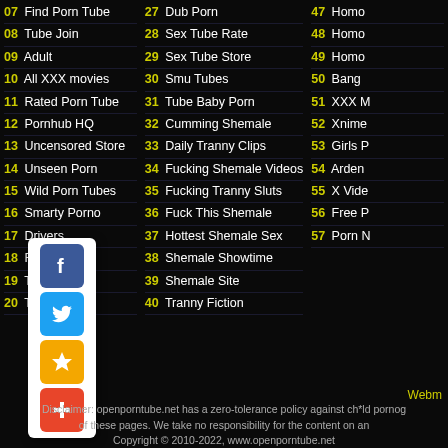07 Find Porn Tube
08 Tube Join
09 Adult
10 All XXX movies
11 Rated Porn Tube
12 Pornhub HQ
13 Uncensored Store
14 Unseen Porn
15 Wild Porn Tubes
16 Smarty Porno
17 Drivers
18 Forces
19 Tubes
20 Thumbs
27 Dub Porn
28 Sex Tube Rate
29 Sex Tube Store
30 Smu Tubes
31 Tube Baby Porn
32 Cumming Shemale
33 Daily Tranny Clips
34 Fucking Shemale Videos
35 Fucking Tranny Sluts
36 Fuck This Shemale
37 Hottest Shemale Sex
38 Shemale Showtime
39 Shemale Site
40 Tranny Fiction
47 Homo
48 Homo
49 Homo
50 Bang
51 XXX M
52 Xnime
53 Girls P
54 Arden
55 X Vide
56 Free P
57 Porn N
[Figure (infographic): Social sharing bar with Facebook, Twitter, Stumbleupon/star, and Add/plus buttons]
Webm
Disclaimer: openporntube.net has a zero-tolerance policy against ch*ld pornog of these pages. We take no responsibility for the content on an Copyright © 2010-2022, www.openporntube.net